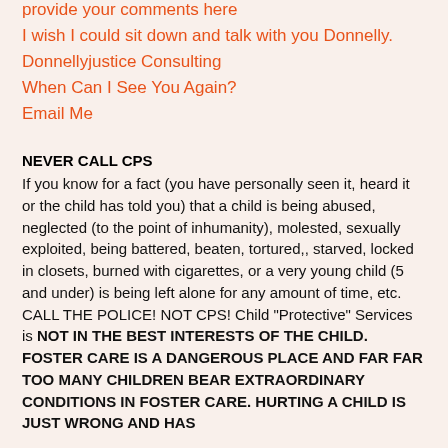provide your comments here
I wish I could sit down and talk with you Donnelly.
Donnellyjustice Consulting
When Can I See You Again?
Email Me
NEVER CALL CPS
If you know for a fact (you have personally seen it, heard it or the child has told you) that a child is being abused, neglected (to the point of inhumanity), molested, sexually exploited, being battered, beaten, tortured,, starved, locked in closets, burned with cigarettes, or a very young child (5 and under) is being left alone for any amount of time, etc. CALL THE POLICE! NOT CPS! Child "Protective" Services is NOT IN THE BEST INTERESTS OF THE CHILD. FOSTER CARE IS A DANGEROUS PLACE AND FAR FAR TOO MANY CHILDREN BEAR EXTRAORDINARY CONDITIONS IN FOSTER CARE. HURTING A CHILD IS JUST WRONG AND HAS